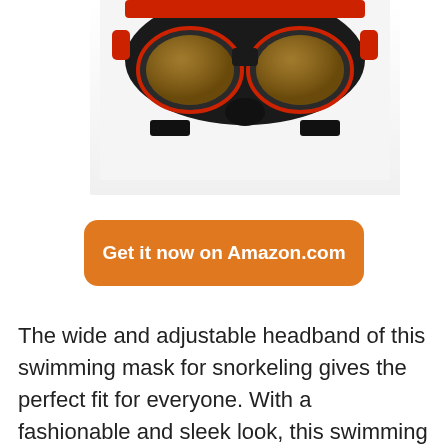[Figure (photo): Bottom view of a swimming/diving mask with red and black frame, showing dual lenses, partially cropped at top]
Get it now on Amazon.com
The wide and adjustable headband of this swimming mask for snorkeling gives the perfect fit for everyone. With a fashionable and sleek look, this swimming mask also delivers a smart look to divers. Moreover, the double lens design lets you enjoy a fog-free 180-degree panoramic view underwater. The adjustable buckle helps you